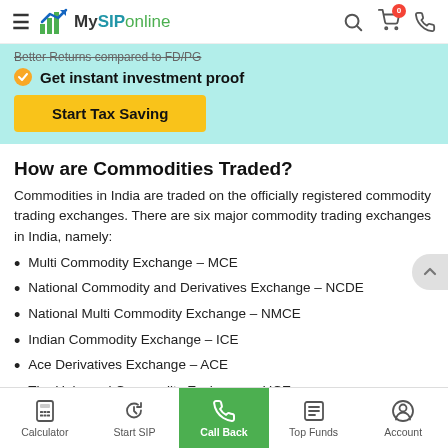MySIPonline
Get instant investment proof
Start Tax Saving
How are Commodities Traded?
Commodities in India are traded on the officially registered commodity trading exchanges. There are six major commodity trading exchanges in India, namely:
Multi Commodity Exchange – MCE
National Commodity and Derivatives Exchange – NCDE
National Multi Commodity Exchange – NMCE
Indian Commodity Exchange – ICE
Ace Derivatives Exchange – ACE
The Universal Commodity Exchange – UCE
Calculator | Start SIP | Call Back | Top Funds | Account